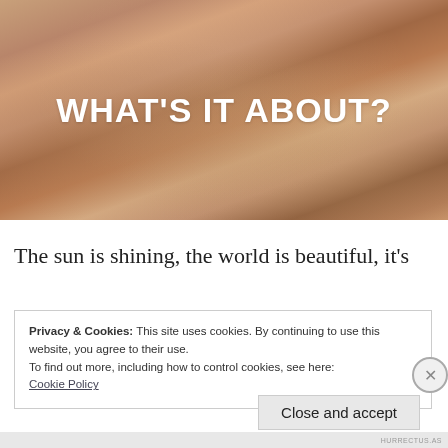[Figure (photo): A sandy/rocky textured surface background (possibly eroded stone or wood grain) in warm orange-brown tones, with the large white text 'WHAT'S IT ABOUT?' overlaid in the center.]
The sun is shining, the world is beautiful, it's
Privacy & Cookies: This site uses cookies. By continuing to use this website, you agree to their use.
To find out more, including how to control cookies, see here:
Cookie Policy
Close and accept
HURRECTUS.AS